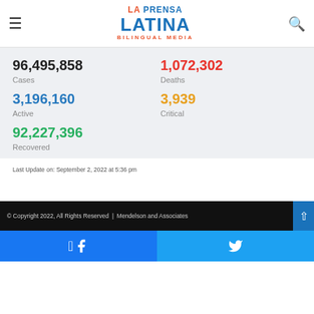La Prensa Latina Bilingual Media
| 96,495,858 | 1,072,302 |
| Cases | Deaths |
| 3,196,160 | 3,939 |
| Active | Critical |
| 92,227,396 |  |
| Recovered |  |
Last Update on: September 2, 2022 at 5:36 pm
© Copyright 2022, All Rights Reserved  |  Mendelson and Associates